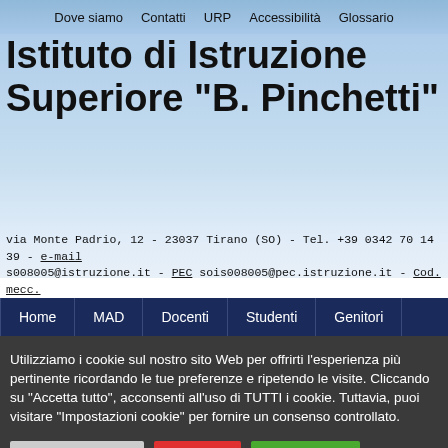Dove siamo  Contatti  URP  Accessibilità  Glossario
Istituto di Istruzione Superiore "B. Pinchetti"
via Monte Padrio, 12 - 23037 Tirano (SO) - Tel. +39 0342 70 14 39 - e-mail s008005@istruzione.it - PEC sois008005@pec.istruzione.it - Cod. mecc. IS008005 - Cod. fisc. 92000460144 - C.U.F.E. UF1A74
Home  MAD  Docenti  Studenti  Genitori
Utilizziamo i cookie sul nostro sito Web per offrirti l'esperienza più pertinente ricordando le tue preferenze e ripetendo le visite. Cliccando su "Accetta tutto", acconsenti all'uso di TUTTI i cookie. Tuttavia, puoi visitare "Impostazioni cookie" per fornire un consenso controllato.
Cookie Settings  Accetta  Accetta tutti